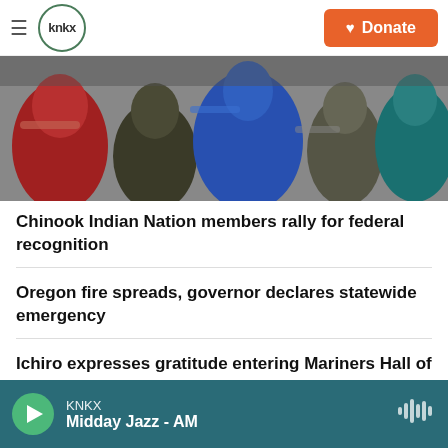KNKX — Donate
[Figure (photo): Group of people gathered outdoors, some in colorful clothing including red, blue, and teal, appearing to be at a rally or gathering.]
Chinook Indian Nation members rally for federal recognition
Oregon fire spreads, governor declares statewide emergency
Ichiro expresses gratitude entering Mariners Hall of F…
KNKX — Midday Jazz - AM